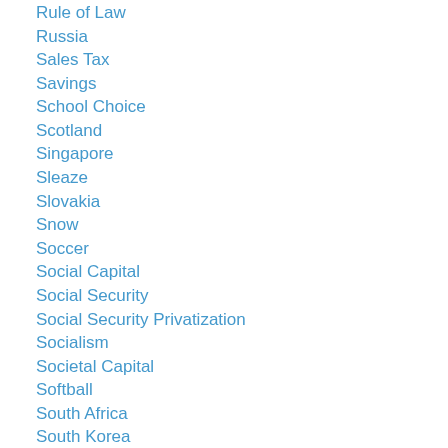Rule of Law
Russia
Sales Tax
Savings
School Choice
Scotland
Singapore
Sleaze
Slovakia
Snow
Soccer
Social Capital
Social Security
Social Security Privatization
Socialism
Societal Capital
Softball
South Africa
South Korea
Sovereignty